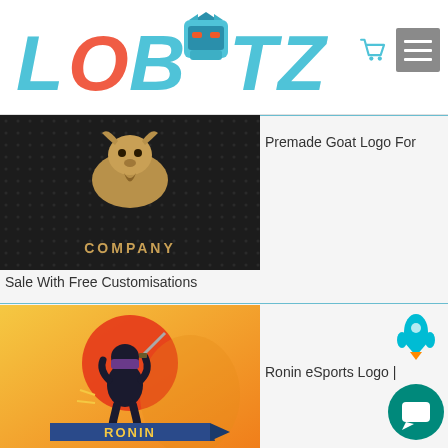[Figure (logo): LOBOTZ website header with logo, cart icon, and hamburger menu]
[Figure (photo): Premade Goat Logo on dark dotted background with COMPANY text]
Premade Goat Logo For
Sale With Free Customisations
[Figure (photo): Ronin eSports mascot logo on orange/yellow background with ninja character]
Ronin eSports Logo |
Ronin Mascot Logo
[Figure (photo): Colourful balloon mascot logos on light background]
Colourful & Trendy Re...